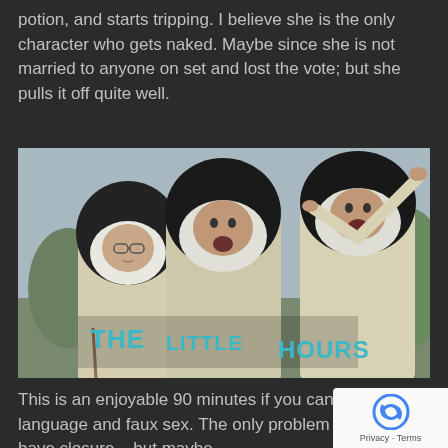potion, and starts tripping. I believe she is the only character who gets naked. Maybe since she is not married to anyone on set and lost the vote; but she pulls it off quite well.
[Figure (photo): Movie poster / still image for 'The Little Hours' showing three women dressed as nuns in religious habits. The nun on the left wears glasses and looks sideways. The middle nun has her mouth open. The right nun has her arms raised. Overlaid text reads 'THE LITTLE HOURS' in teal/turquoise block letters in the lower center of the image.]
This is an enjoyable 90 minutes if you can enjoy the language and faux sex. The only problem – it doesn't have closure – but maybe